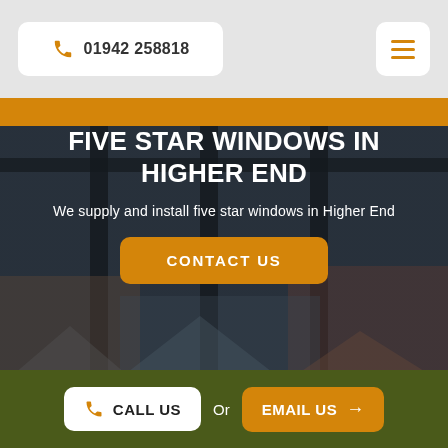01942 258818
[Figure (screenshot): Hero section showing houses/windows through dark overlay with title and contact button]
FIVE STAR WINDOWS IN HIGHER END
We supply and install five star windows in Higher End
CONTACT US
CALL US   Or   EMAIL US →